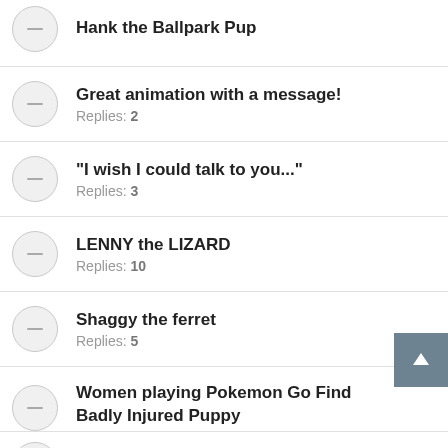Hank the Ballpark Pup
Great animation with a message! Replies: 2
"I wish I could talk to you..." Replies: 3
LENNY the LIZARD Replies: 10
Shaggy the ferret Replies: 5
Women playing Pokemon Go Find Badly Injured Puppy
(partial item cut off at bottom)